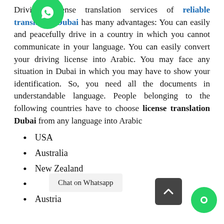Driving License translation services of reliable translation Dubai has many advantages: You can easily and peacefully drive in a country in which you cannot communicate in your language. You can easily convert your driving license into Arabic. You may face any situation in Dubai in which you may have to show your identification. So, you need all the documents in understandable language. People belonging to the following countries have to choose license translation Dubai from any language into Arabic
USA
Australia
New Zealand
Canada
Austria